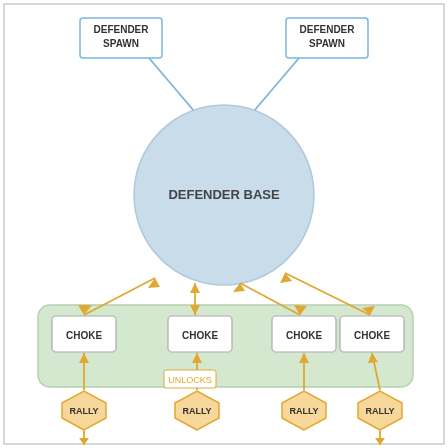[Figure (flowchart): Game map diagram showing DEFENDER SPAWN boxes (x2) at top connected with blue arrows down to a large blue circle labeled DEFENDER BASE. Below the circle, gold/orange arrows connect bidirectionally to a green rounded rectangle containing four CHOKE boxes. Below the CHOKE boxes, gold arrows point up from RALLY hexagons at the bottom. An UNLOCKS label connects the second RALLY to the second CHOKE.]